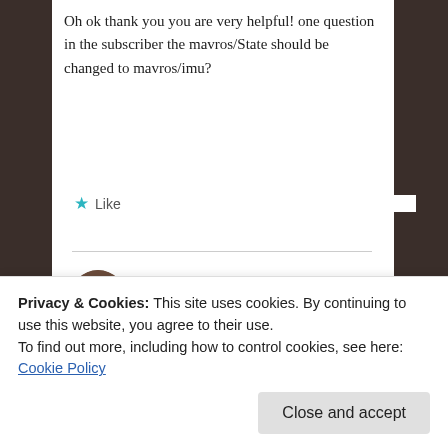Oh ok thank you you are very helpful! one question in the subscriber the mavros/State should be changed to mavros/imu?
Like
Jaeyoung Lim
April 12, 2016 at 2:28 am
It depends on the topic name.
Privacy & Cookies: This site uses cookies. By continuing to use this website, you agree to their use.
To find out more, including how to control cookies, see here: Cookie Policy
Close and accept